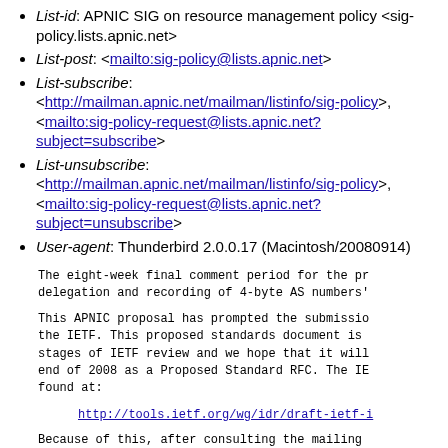List-id: APNIC SIG on resource management policy <sig-policy.lists.apnic.net>
List-post: <mailto:sig-policy@lists.apnic.net>
List-subscribe: <http://mailman.apnic.net/mailman/listinfo/sig-policy>, <mailto:sig-policy-request@lists.apnic.net?subject=subscribe>
List-unsubscribe: <http://mailman.apnic.net/mailman/listinfo/sig-policy>, <mailto:sig-policy-request@lists.apnic.net?subject=unsubscribe>
User-agent: Thunderbird 2.0.0.17 (Macintosh/20080914)
The eight-week final comment period for the pr delegation and recording of 4-byte AS numbers'
This APNIC proposal has prompted the submission the IETF. This proposed standards document is stages of IETF review and we hope that it will end of 2008 as a Proposed Standard RFC. The IE found at:
http://tools.ietf.org/wg/idr/draft-ietf-i
Because of this, after consulting the mailing Chairs have decided to defer forwarding the AP FC for endorsement until the IETF and RFC Edi